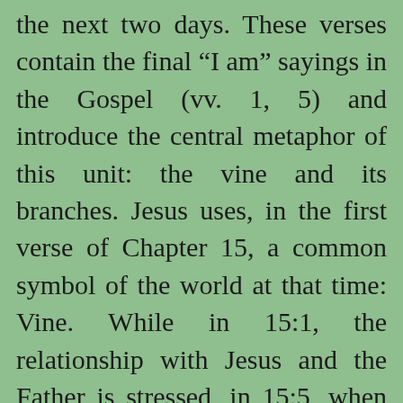the next two days. These verses contain the final “I am” sayings in the Gospel (vv. 1, 5) and introduce the central metaphor of this unit: the vine and its branches. Jesus uses, in the first verse of Chapter 15, a common symbol of the world at that time: Vine. While in 15:1, the relationship with Jesus and the Father is stressed, in 15:5, when the metaphor is used again, Jesus does so in the context of his relationship with his disciples. Thus, the focus of the metaphor is interrelationship. If God is the vine dresser, Jesus is the vine and the disciples